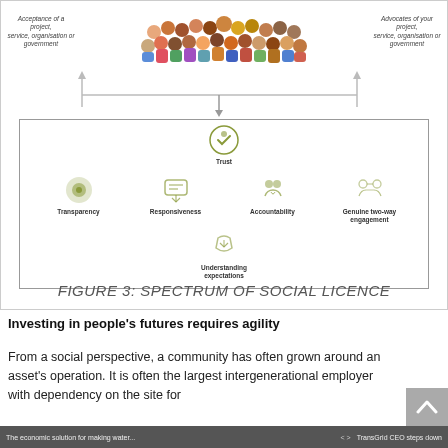[Figure (infographic): Spectrum of Social Licence diagram. Top section shows a crowd of diverse illustrated people, with left label 'Acceptance of a project, service, organisation or government' and right label 'Advocates of your project, service, organisation or government'. A horizontal bidirectional arrow spans between two vertical arrows, with a downward arrow leading into an inner box. The inner box contains five icons arranged in a cross pattern: Trust (top center), Transparency (left), Responsiveness (center-left), Accountability (center-right), Genuine two-way engagement (right), and Understanding expectations (bottom center). All icons are in olive/green colour.]
FIGURE 3: SPECTRUM OF SOCIAL LICENCE
Investing in people's futures requires agility
From a social perspective, a community has often grown around an asset's operation. It is often the largest intergenerational employer with dependency on the site for
The economic solution for making water... < > TransGrid CEO steps down